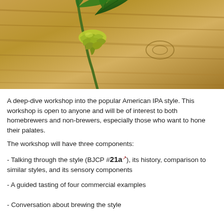[Figure (photo): Close-up photo of a hop cone with green leaves on a wooden surface]
A deep-dive workshop into the popular American IPA style. This workshop is open to anyone and will be of interest to both homebrewers and non-brewers, especially those who want to hone their palates.
The workshop will have three components:
- Talking through the style (BJCP #21a), its history, comparison to similar styles, and its sensory components
- A guided tasting of four commercial examples
- Conversation about brewing the style